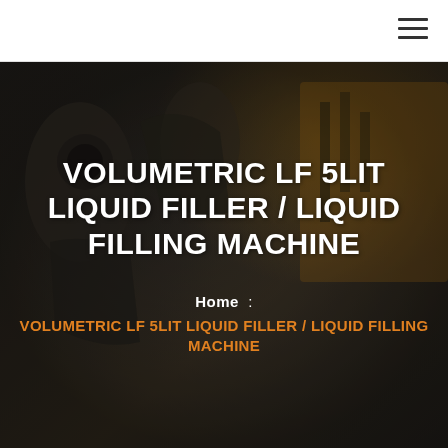[Figure (photo): Industrial machinery background photo showing dark metallic equipment components with orange/yellow machinery elements visible in the background]
VOLUMETRIC LF 5LIT LIQUID FILLER / LIQUID FILLING MACHINE
Home :
VOLUMETRIC LF 5LIT LIQUID FILLER / LIQUID FILLING MACHINE